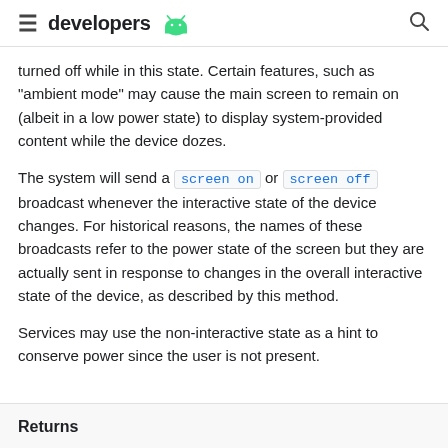≡ developers 🤖 🔍
turned off while in this state. Certain features, such as "ambient mode" may cause the main screen to remain on (albeit in a low power state) to display system-provided content while the device dozes.
The system will send a screen on or screen off broadcast whenever the interactive state of the device changes. For historical reasons, the names of these broadcasts refer to the power state of the screen but they are actually sent in response to changes in the overall interactive state of the device, as described by this method.
Services may use the non-interactive state as a hint to conserve power since the user is not present.
Returns